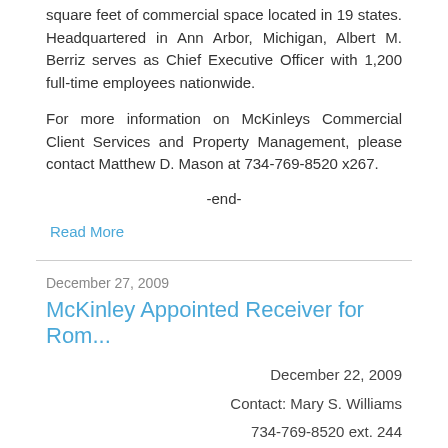square feet of commercial space located in 19 states. Headquartered in Ann Arbor, Michigan, Albert M. Berriz serves as Chief Executive Officer with 1,200 full-time employees nationwide.
For more information on McKinleys Commercial Client Services and Property Management, please contact Matthew D. Mason at 734-769-8520 x267.
-end-
Read More
December 27, 2009
McKinley Appointed Receiver for Rom...
December 22, 2009
Contact: Mary S. Williams
734-769-8520 ext. 244